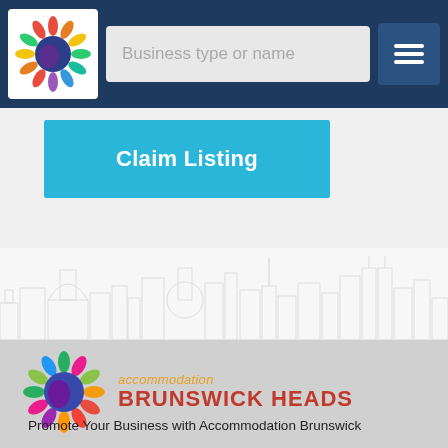Business type or name
[Figure (logo): Accommodation Brunswick Heads colorful sunburst logo in header]
Claim Listing
[Figure (illustration): Grey city skyline silhouette illustration spanning full width]
[Figure (logo): Accommodation Brunswick Heads logo with sunburst icon and text]
Promote Your Business with Accommodation Brunswick Heads